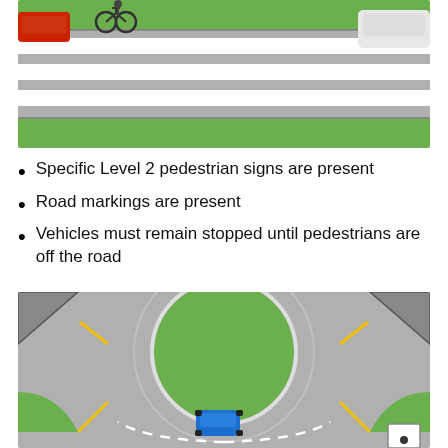[Figure (illustration): Top-down view of a pedestrian crossing with green road shoulders, grey road surface with white diagonal stripes forming a crosswalk, and vehicles including a red car and a bicycle visible at the left edge.]
Specific Level 2 pedestrian signs are present
Road markings are present
Vehicles must remain stopped until pedestrians are off the road
[Figure (illustration): Aerial view of a roundabout with a large green central island, grey road surface with dashed white lane markings, green pedestrian/bike paths with yellow markings at entries, corner cut-offs (grey with dark borders), and a blue car approaching from the bottom entry of the roundabout. A small sign is visible in the bottom-right corner.]